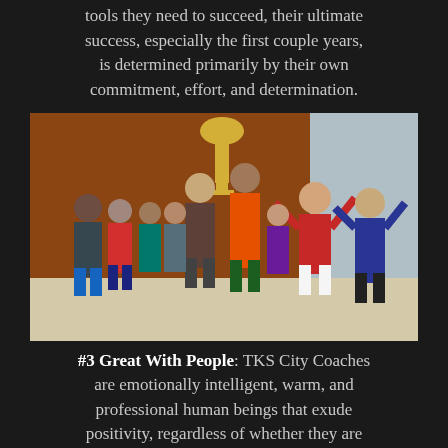We provide new TKS Business Owners the tools they need to succeed, their ultimate success, especially the first couple years, is determined primarily by their own commitment, effort, and determination.
[Figure (photo): Group photo of children and an adult celebrating outdoors, holding a large trophy, in front of a brick building. Children are smiling and raising their arms in celebration.]
#3 Great With People: TKS City Coaches are emotionally intelligent, warm, and professional human beings that exude positivity, regardless of whether they are interacting in-person, over the phone, or